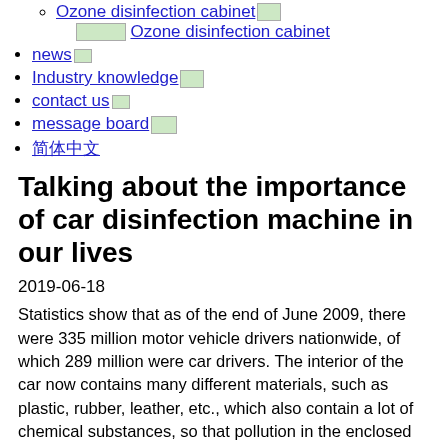Ozone disinfection cabinet
news
Industry knowledge
contact us
message board
简体中文
Talking about the importance of car disinfection machine in our lives
2019-06-18
Statistics show that as of the end of June 2009, there were 335 million motor vehicle drivers nationwide, of which 289 million were car drivers. The interior of the car now contains many different materials, such as plastic, rubber, leather, etc., which also contain a lot of chemical substances, so that pollution in the enclosed space inside the car will become more serious.
A research report pointed out that the release of harmful gases from materials in vehicles will increase with the increase in temperature. For every 10°C increase in temperature, the pollutant concentration nearly doubles. Ordinary disinfection treatment can